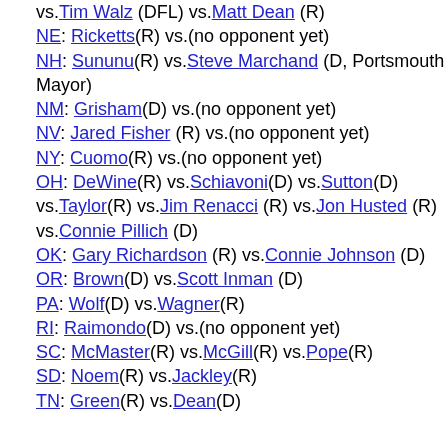vs. Tim Walz (DFL) vs. Matt Dean (R)
NE: Ricketts(R) vs.(no opponent yet)
NH: Sununu(R) vs. Steve Marchand (D, Portsmouth Mayor)
NM: Grisham(D) vs.(no opponent yet)
NV: Jared Fisher (R) vs.(no opponent yet)
NY: Cuomo(R) vs.(no opponent yet)
OH: DeWine(R) vs. Schiavoni(D) vs. Sutton(D) vs. Taylor(R) vs. Jim Renacci (R) vs. Jon Husted (R) vs. Connie Pillich (D)
OK: Gary Richardson (R) vs. Connie Johnson (D)
OR: Brown(D) vs. Scott Inman (D)
PA: Wolf(D) vs. Wagner(R)
RI: Raimondo(D) vs.(no opponent yet)
SC: McMaster(R) vs. McGill(R) vs. Pope(R)
SD: Noem(R) vs. Jackley(R)
TN: Green(R) vs. Dean(D)